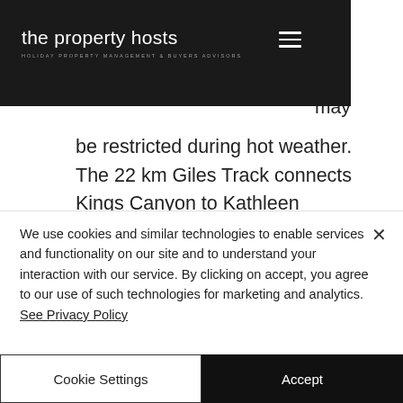the property hosts — HOLIDAY PROPERTY MANAGEMENT & BUYERS ADVISORS
k in
may
be restricted during hot weather. The 22 km Giles Track connects Kings Canyon to Kathleen Springs and is popular with more adventurous hikers.
[Figure (photo): Panoramic photo of blue sky with scattered white clouds]
We use cookies and similar technologies to enable services and functionality on our site and to understand your interaction with our service. By clicking on accept, you agree to our use of such technologies for marketing and analytics. See Privacy Policy
Cookie Settings
Accept